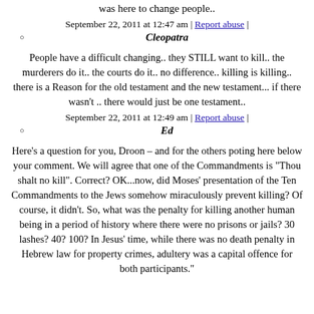was here to change people..
September 22, 2011 at 12:47 am | Report abuse |
Cleopatra
People have a difficult changing.. they STILL want to kill.. the murderers do it.. the courts do it.. no difference.. killing is killing.. there is a Reason for the old testament and the new testament... if there wasn't .. there would just be one testament..
September 22, 2011 at 12:49 am | Report abuse |
Ed
Here's a question for you, Droon – and for the others poting here below your comment. We will agree that one of the Commandments is "Thou shalt no kill". Correct? OK...now, did Moses' presentation of the Ten Commandments to the Jews somehow miraculously prevent killing? Of course, it didn't. So, what was the penalty for killing another human being in a period of history where there were no prisons or jails? 30 lashes? 40? 100? In Jesus' time, while there was no death penalty in Hebrew law for property crimes, adultery was a capital offence for both participants."